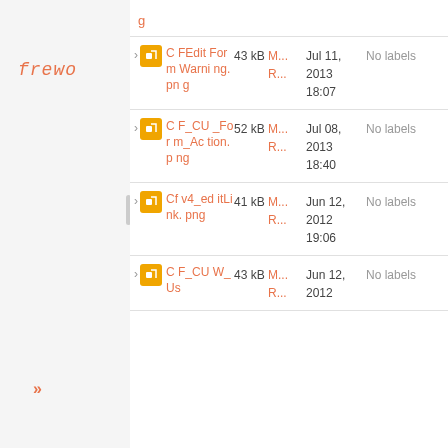[Figure (logo): frewo logo in orange italic text]
| Name | Size | Author | Date | Labels |
| --- | --- | --- | --- | --- |
| g |  |  |  |  |
| CFEditFormWarning.png | 43 kB | M... R... | Jul 11, 2013 18:07 | No labels |
| CF_CU_Form_Action.png | 52 kB | M... R... | Jul 08, 2013 18:40 | No labels |
| Cfv4_editLink.png | 41 kB | M... R... | Jun 12, 2012 19:06 | No labels |
| CF_CU W_Us | 43 kB | M... R... | Jun 12, 2012 | No labels |